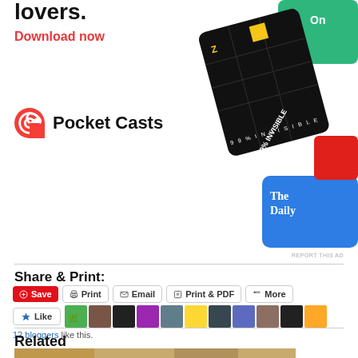[Figure (illustration): Pocket Casts app advertisement with podcast covers (99% Invisible, The Daily, and others) and Pocket Casts logo. Text: 'lovers.' in bold, 'Download now' in red, Pocket Casts logo and name.]
Share & Print:
Save | Print | Email | Print & PDF | More (share buttons)
Like | 12 bloggers like this.
Related
[Figure (photo): Partial photo of food item at bottom of page]